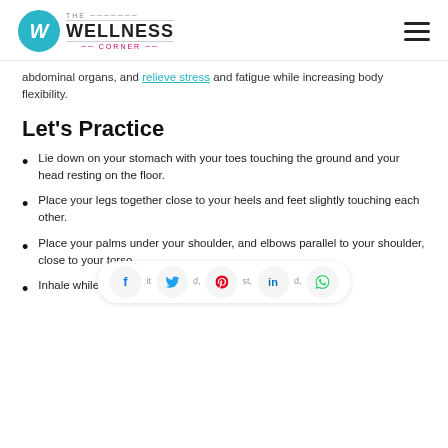The Wellness Corner
abdominal organs, and relieve stress and fatigue while increasing body flexibility.
Let's Practice
Lie down on your stomach with your toes touching the ground and your head resting on the floor.
Place your legs together close to your heels and feet slightly touching each other.
Place your palms under your shoulder, and elbows parallel to your shoulder, close to your torso.
Inhale while slowly ...